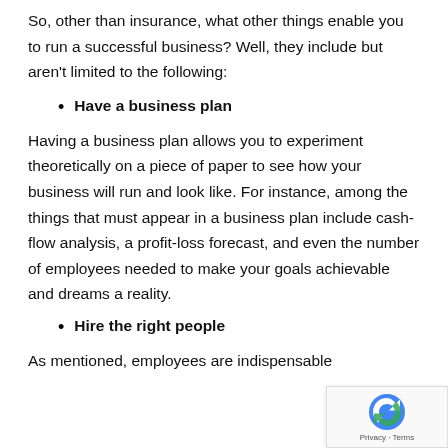So, other than insurance, what other things enable you to run a successful business? Well, they include but aren't limited to the following:
Have a business plan
Having a business plan allows you to experiment theoretically on a piece of paper to see how your business will run and look like. For instance, among the things that must appear in a business plan include cash-flow analysis, a profit-loss forecast, and even the number of employees needed to make your goals achievable and dreams a reality.
Hire the right people
As mentioned, employees are indispensable